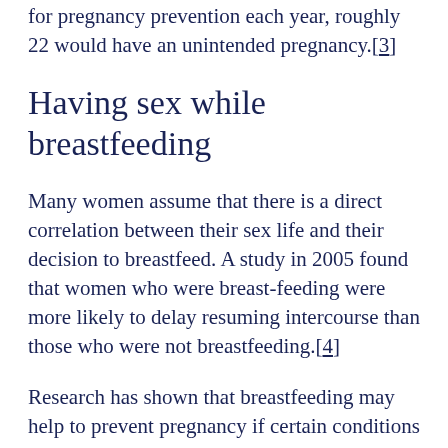for pregnancy prevention each year, roughly 22 would have an unintended pregnancy.[3]
Having sex while breastfeeding
Many women assume that there is a direct correlation between their sex life and their decision to breastfeed. A study in 2005 found that women who were breast-feeding were more likely to delay resuming intercourse than those who were not breastfeeding.[4]
Research has shown that breastfeeding may help to prevent pregnancy if certain conditions are met, namely that the woman is within six months of having delivered the baby, has not had a menstrual cycle and if